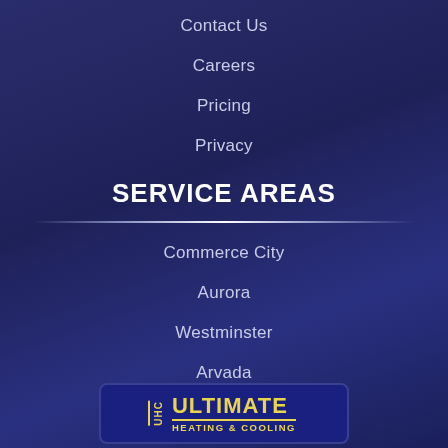Contact Us
Careers
Pricing
Privacy
SERVICE AREAS
Commerce City
Aurora
Westminster
Arvada
[Figure (logo): Ultimate Heating & Cooling company logo with UHC monogram in yellow on dark blue background]